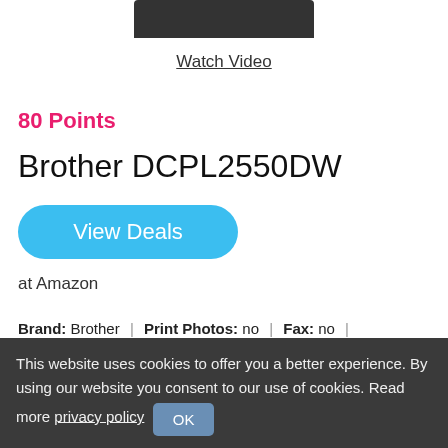[Figure (photo): Partial image of Brother DCPL2550DW printer at top of page]
Watch Video
80 Points
Brother DCPL2550DW
View Deals
at Amazon
Brand: Brother | Print Photos: no | Fax: no | Automatic Duplex: yes ⓘ | Alexa: yes | Pages per minute: 36 | ...
This website uses cookies to offer you a better experience. By using our website you consent to our use of cookies. Read more privacy policy OK